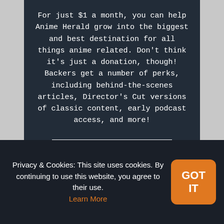For just $1 a month, you can help Anime Herald grow into the biggest and best destination for all things anime related. Don't think it's just a donation, though! Backers get a number of perks, including behind-the-scenes articles, Director's Cut versions of classic content, early podcast access, and more!
Become a Patron
Privacy & Cookies: This site uses cookies. By continuing to use this website, you agree to their use. Learn More
GOT IT